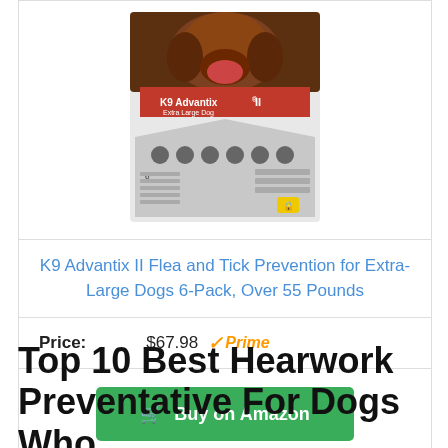[Figure (photo): K9 Advantix II Flea and Tick Prevention product box for Extra Large Dogs, 6-Pack]
K9 Advantix II Flea and Tick Prevention for Extra-Large Dogs 6-Pack, Over 55 Pounds
Price: $67.98 ✓Prime
Buy on Amazon
Top 10 Best Hearwork Preventative For Dogs Who Have Heartworms in 2023